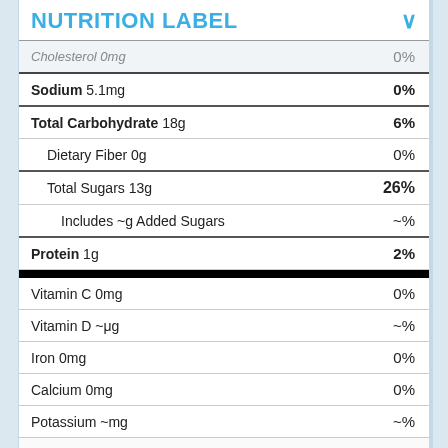NUTRITION LABEL
| Nutrient | % Daily Value |
| --- | --- |
| Cholesterol 0mg | 0% |
| Sodium 5.1mg | 0% |
| Total Carbohydrate 18g | 6% |
| Dietary Fiber 0g | 0% |
| Total Sugars 13g | 26% |
| Includes ~g Added Sugars | ~% |
| Protein 1g | 2% |
| Vitamin C 0mg | 0% |
| Vitamin D ~μg | ~% |
| Iron 0mg | 0% |
| Calcium 0mg | 0% |
| Potassium ~mg | ~% |
| Phosphorus ~mg | ~% |
*The % Daily Value (DV) tells you how much a nutrient in a serving of